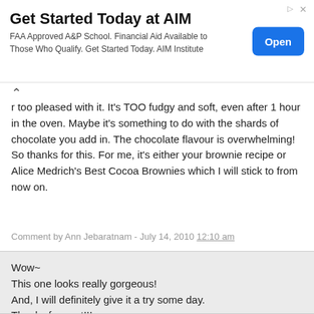[Figure (other): Advertisement banner for AIM Institute with title 'Get Started Today at AIM', body text about FAA Approved A&P School and Financial Aid, and a blue 'Open' button.]
r too pleased with it. It's TOO fudgy and soft, even after 1 hour in the oven. Maybe it's something to do with the shards of chocolate you add in. The chocolate flavour is overwhelming! So thanks for this. For me, it's either your brownie recipe or Alice Medrich's Best Cocoa Brownies which I will stick to from now on.
Comment by Ann Jebaratnam - July 14, 2010 12:10 am
Wow~
This one looks really gorgeous!
And, I will definitely give it a try some day.
Thanks for post!!!
Comment by Yaping - July 14, 2010 7:06 am
Ann, wowwww! That's so coooool! Thank you for this! I'm so glad